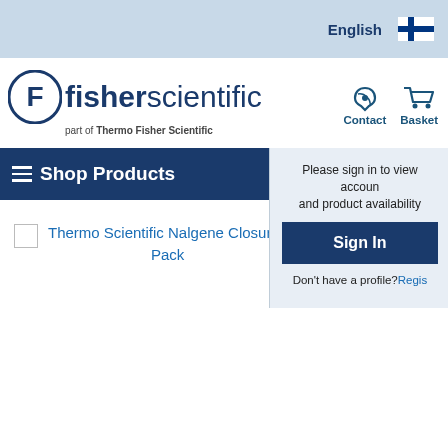English
[Figure (logo): Fisher Scientific logo - part of Thermo Fisher Scientific]
Contact
Basket
Shop Products
Please sign in to view account and product availability
Sign In
Don't have a profile? Regis...
Thermo Scientific Nalgene Closures... Pack